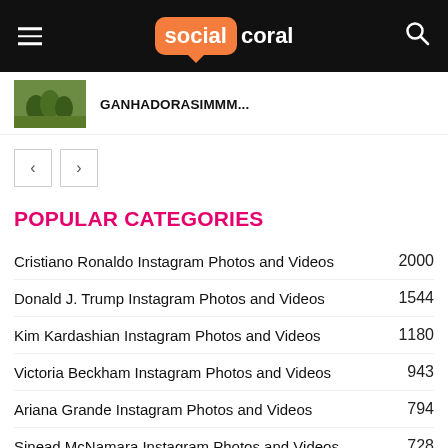social coral
GANHADORASIMMM...
POPULAR CATEGORIES
Cristiano Ronaldo Instagram Photos and Videos  2000
Donald J. Trump Instagram Photos and Videos  1544
Kim Kardashian Instagram Photos and Videos  1180
Victoria Beckham Instagram Photos and Videos  943
Ariana Grande Instagram Photos and Videos  794
Sinead McNamara Instagram Photos and Videos  728
MUST READ